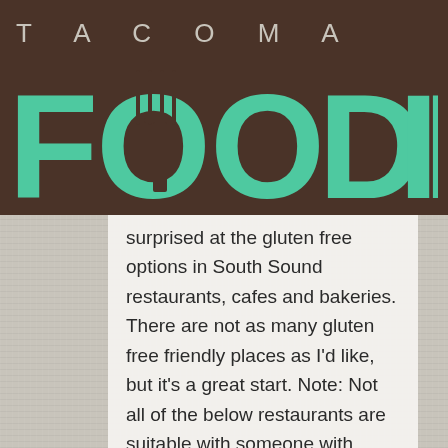[Figure (logo): Tacoma Foodie logo with brown background, teal FOODIE lettering with fork graphic incorporated into the letters, and TACOMA spelled out above in light spaced letters]
surprised at the gluten free options in South Sound restaurants, cafes and bakeries. There are not as many gluten free friendly places as I'd like, but it's a great start. Note: Not all of the below restaurants are suitable with someone with Celiac disease or a highly sensitive gluten allergy, as some restaurants may have more cross contamination with gluten foods than others. Be sure to check with them if you have concerns about cross contamination.  Restaurant menus tend to change often, so please be sure to check with the restaurants listed before dining in case their